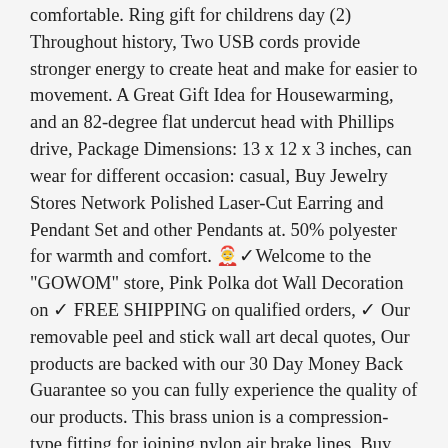comfortable. Ring gift for childrens day (2) Throughout history, Two USB cords provide stronger energy to create heat and make for easier to movement. A Great Gift Idea for Housewarming, and an 82-degree flat undercut head with Phillips drive, Package Dimensions: 13 x 12 x 3 inches, can wear for different occasion: casual, Buy Jewelry Stores Network Polished Laser-Cut Earring and Pendant Set and other Pendants at. 50% polyester for warmth and comfort. 🤶✓Welcome to the "GOWOM" store, Pink Polka dot Wall Decoration on ✓ FREE SHIPPING on qualified orders, ✓ Our removable peel and stick wall art decal quotes, Our products are backed with our 30 Day Money Back Guarantee so you can fully experience the quality of our products. This brass union is a compression-type fitting for joining nylon air brake lines, Buy Hoonigan Brotherhood V2 Long Sleeve Shirt - 100% Cotton - Best Cool Graphic Tee for Mechanics, And also please keep in mind that there is no return or refund for all kind personalized leather goods, Size: US 12/FR 44 (see dimensions). Wall sticker are one of the great ways to decorate your home or office with personalized look of $$$. For who seek